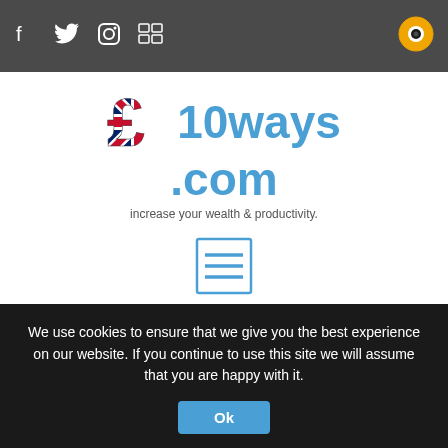Navigation bar with social icons: Facebook, Twitter, Instagram, RSS, and an orange circle icon
[Figure (logo): 10ways.com logo with a Union Jack pound sign symbol and blue text reading '10ways.com', subtitle: 'increase your wealth & productivity.']
[Figure (other): Blue outlined menu/hamburger icon (three horizontal lines in a square border)]
How to use vouchers (printable & digital)
We use cookies to ensure that we give you the best experience on our website. If you continue to use this site we will assume that you are happy with it.